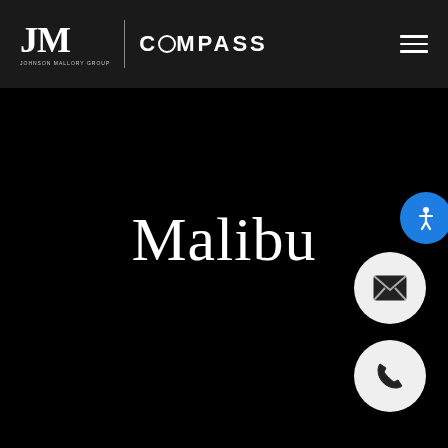JM COMPASS
Malibu
[Figure (illustration): Email contact button - white circle with envelope icon on black background]
[Figure (illustration): Phone contact button - white circle with telephone handset icon on black background]
[Figure (illustration): Accessibility button - blue circle with person/wheelchair icon]